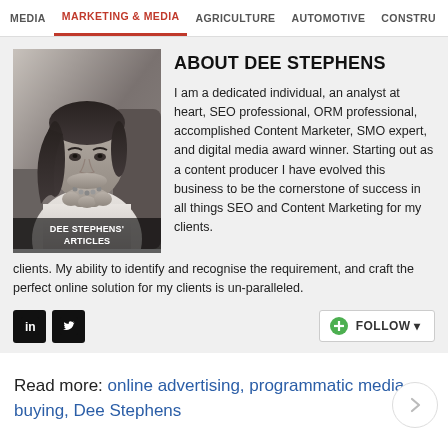MEDIA  MARKETING & MEDIA  AGRICULTURE  AUTOMOTIVE  CONSTRU
[Figure (photo): Black and white photo of Dee Stephens, a woman with dark hair, resting her chin on her hands, wearing a white top and bead necklace. Caption reads: DEE STEPHENS' ARTICLES]
ABOUT DEE STEPHENS
I am a dedicated individual, an analyst at heart, SEO professional, ORM professional, accomplished Content Marketer, SMO expert, and digital media award winner. Starting out as a content producer I have evolved this business to be the cornerstone of success in all things SEO and Content Marketing for my clients. My ability to identify and recognise the requirement, and craft the perfect online solution for my clients is un-paralleled.
Read more: online advertising, programmatic media buying, Dee Stephens